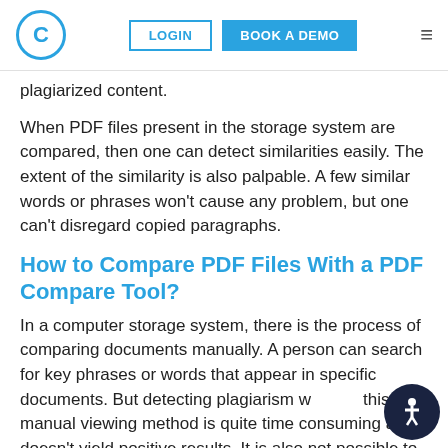C | LOGIN | BOOK A DEMO | menu
plagiarized content.
When PDF files present in the storage system are compared, then one can detect similarities easily. The extent of the similarity is also palpable. A few similar words or phrases won't cause any problem, but one can't disregard copied paragraphs.
How to Compare PDF Files With a PDF Compare Tool?
In a computer storage system, there is the process of comparing documents manually. A person can search for key phrases or words that appear in specific documents. But detecting plagiarism with this manual viewing method is quite time consuming and doesn't yield positive results. It is also not possible to check for similarities